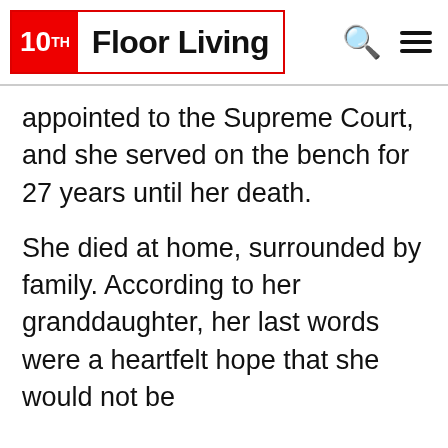10TH Floor Living
appointed to the Supreme Court, and she served on the bench for 27 years until her death.
She died at home, surrounded by family. According to her granddaughter, her last words were a heartfelt hope that she would not be